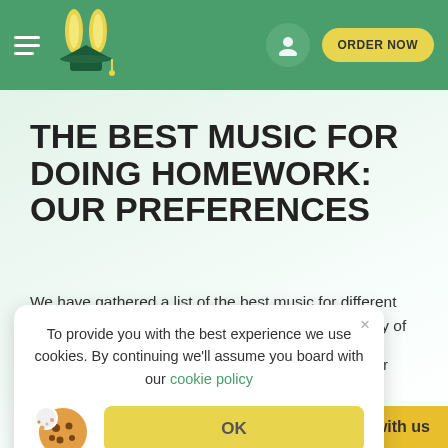[Figure (logo): Studyfy-style homework help website header with rabbit/graduation cap logo, hamburger menu, user icon, and ORDER NOW button on green background]
THE BEST MUSIC FOR DOING HOMEWORK: OUR PREFERENCES
We have gathered a list of the best music for different types of assignment and different level of complexity of your homework.
To provide you with the best experience we use cookies. By continuing we'll assume you board with our cookie policy
[Figure (screenshot): Cookie consent popup with OK button and cookie illustration]